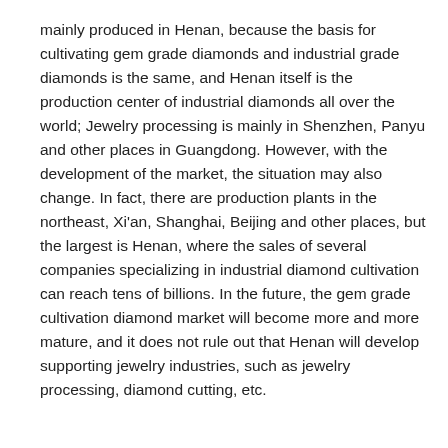mainly produced in Henan, because the basis for cultivating gem grade diamonds and industrial grade diamonds is the same, and Henan itself is the production center of industrial diamonds all over the world; Jewelry processing is mainly in Shenzhen, Panyu and other places in Guangdong. However, with the development of the market, the situation may also change. In fact, there are production plants in the northeast, Xi'an, Shanghai, Beijing and other places, but the largest is Henan, where the sales of several companies specializing in industrial diamond cultivation can reach tens of billions. In the future, the gem grade cultivation diamond market will become more and more mature, and it does not rule out that Henan will develop supporting jewelry industries, such as jewelry processing, diamond cutting, etc.